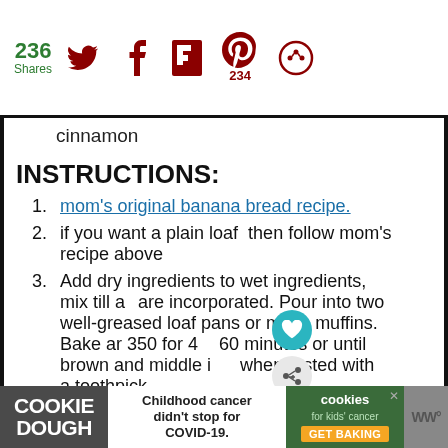236 Shares [Twitter] [Facebook] [Flipboard] [Pinterest 234] [More]
cinnamon
INSTRUCTIONS:
1. mom's original banana bread recipe.
2. if you want a plain loaf  then follow mom's recipe above
3. Add dry ingredients to wet ingredients, mix till all are incorporated. Pour into two well-greased loaf pans or make muffins. Bake ar 350 for 45-60 minutes or until brown and middle is done when tested with a toothpick.
4. Note: you can even use a brownie-sized pan and
[Figure (other): What's Next popup with cookie image and text: Sour Cream Blueberry...]
[Figure (other): Ad banner: COOKIE DOUGH / Childhood cancer didn't stop for COVID-19. / cookies for kids' cancer GET BAKING]